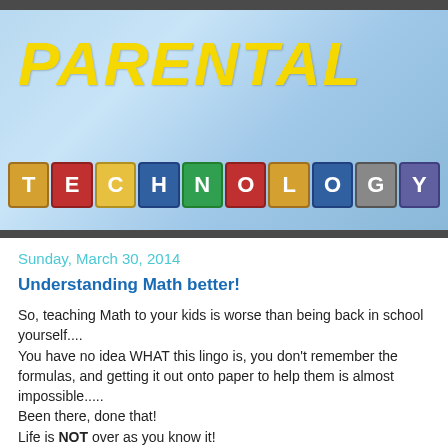[Figure (photo): Blog header image showing the word PARENTAL in bold yellow italic text over a light blue sky background, with alphabet building blocks spelling TECHNOLOGY below it, including reflections of the blocks.]
Sunday, March 30, 2014
Understanding Math better!
So, teaching Math to your kids is worse than being back in school yourself....
You have no idea WHAT this lingo is, you don't remember the formulas, and getting it out onto paper to help them is almost impossible.....
Been there, done that!
Life is NOT over as you know it!